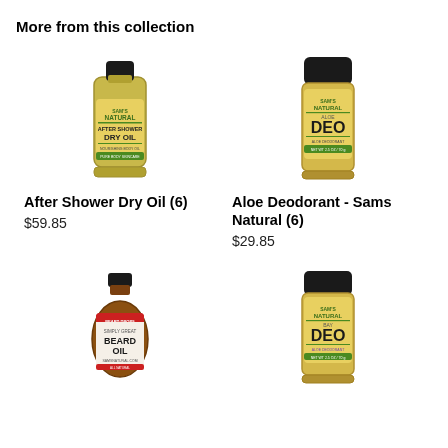More from this collection
[Figure (photo): Bottle of Sam's Natural After Shower Dry Oil with yellow-green label]
[Figure (photo): Sam's Natural Aloe Deodorant stick with black cap and DEO label]
After Shower Dry Oil (6)
$59.85
Aloe Deodorant - Sams Natural (6)
$29.85
[Figure (photo): Small amber bottle of Simply Great Beard Oil]
[Figure (photo): Sam's Natural Bay Deodorant stick with black cap and DEO label]